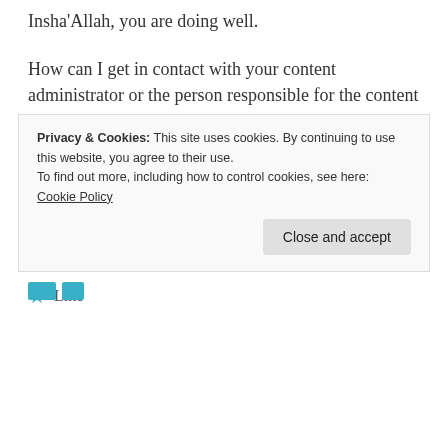Insha'Allah, you are doing well.
How can I get in contact with your content administrator or the person responsible for the content on your blog?
Wasalaam,
Maryam
Outreach Coordinator
http://www.overcome.tv
Like
Privacy & Cookies: This site uses cookies. By continuing to use this website, you agree to their use.
To find out more, including how to control cookies, see here: Cookie Policy
Close and accept